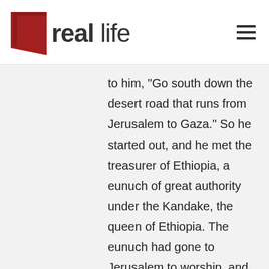real life
to him, “Go south down the desert road that runs from Jerusalem to Gaza.” So he started out, and he met the treasurer of Ethiopia, a eunuch of great authority under the Kandake, the queen of Ethiopia. The eunuch had gone to Jerusalem to worship, and he was now returning. Seated in his carriage, he was reading aloud from the book of the prophet Isaiah.
The Holy Spirit said to Philip, “Go over and walk along beside the carriage.”